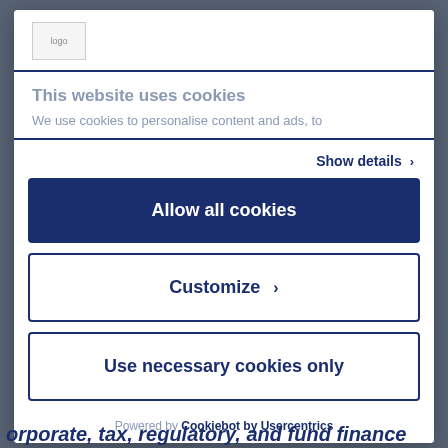[Figure (logo): Website logo placeholder image in top-left of modal header]
This website uses cookies
We use cookies to personalise content and ads, to
Show details ›
Allow all cookies
Customize ›
Use necessary cookies only
Powered by Cookiebot by Usercentrics
orporate, tax, regulatory, and fund finance